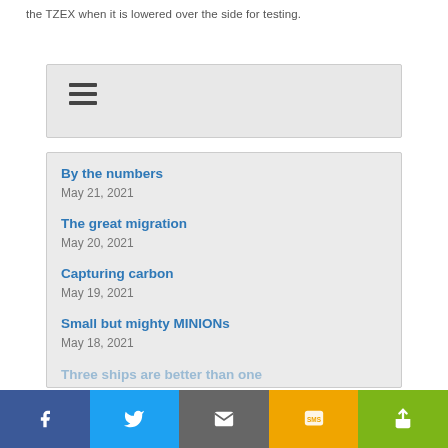the TZEX when it is lowered over the side for testing.
[Figure (screenshot): Navigation menu icon (hamburger) on grey background]
By the numbers
May 21, 2021
The great migration
May 20, 2021
Capturing carbon
May 19, 2021
Small but mighty MINIONs
May 18, 2021
Three ships are better than one
[Figure (screenshot): Social sharing bar with Facebook, Twitter, Email, SMS, and More buttons]